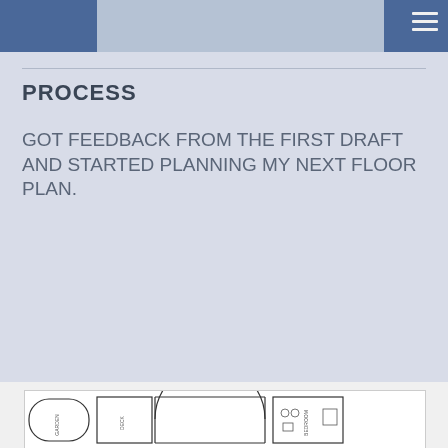PROCESS
GOT FEEDBACK FROM THE FIRST DRAFT AND STARTED PLANNING MY NEXT FLOOR PLAN.
[Figure (schematic): Architectural floor plan showing rooms labeled GARDEN, DECK, and BEDROOM with furniture and structural elements drawn in a top-down schematic style with thin black lines on white background.]